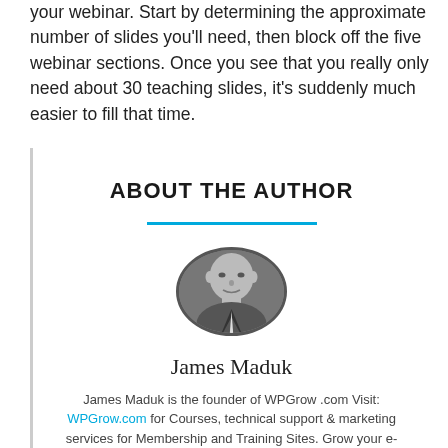your webinar. Start by determining the approximate number of slides you'll need, then block off the five webinar sections. Once you see that you really only need about 30 teaching slides, it's suddenly much easier to fill that time.
ABOUT THE AUTHOR
[Figure (photo): Circular black-and-white headshot photo of James Maduk, a middle-aged man in a suit.]
James Maduk
James Maduk is the founder of WPGrow .com Visit: WPGrow.com for Courses, technical support & marketing services for Membership and Training Sites. Grow your e-